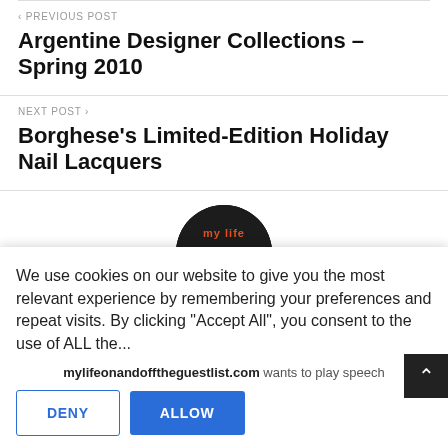‹ PREVIOUS POST
Argentine Designer Collections – Spring 2010
NEXT POST ›
Borghese's Limited-Edition Holiday Nail Lacquers
[Figure (logo): Circular logo with text 'MY LIFE' on dark background]
We use cookies on our website to give you the most relevant experience by remembering your preferences and repeat visits. By clicking "Accept All", you consent to the use of ALL the...
mylifeonandofftheguestlist.com wants to play speech
DENY
ALLOW